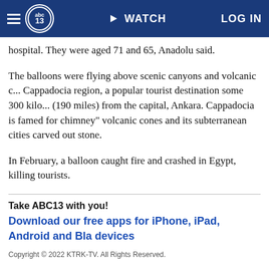abc13 | WATCH | LOG IN
hospital. They were aged 71 and 65, Anadolu said.
The balloons were flying above scenic canyons and volcanic c... Cappadocia region, a popular tourist destination some 300 kilo... (190 miles) from the capital, Ankara. Cappadocia is famed for chimney" volcanic cones and its subterranean cities carved out stone.
In February, a balloon caught fire and crashed in Egypt, killing tourists.
Take ABC13 with you!
Download our free apps for iPhone, iPad, Android and Bla devices
Copyright © 2022 KTRK-TV. All Rights Reserved.